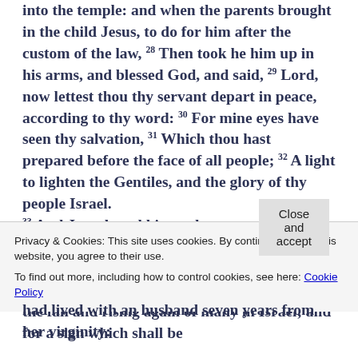into the temple: and when the parents brought in the child Jesus, to do for him after the custom of the law, 28 Then took he him up in his arms, and blessed God, and said, 29 Lord, now lettest thou thy servant depart in peace, according to thy word: 30 For mine eyes have seen thy salvation, 31 Which thou hast prepared before the face of all people; 32 A light to lighten the Gentiles, and the glory of thy people Israel. 33 And Joseph and his mother marvelled at those things which were spoken of him. 34 And Simeon blessed them, and said unto Mary his mother, Behold, this child is set for the fall and rising again of many in Israel; and for a sign which shall be
Privacy & Cookies: This site uses cookies. By continuing to use this website, you agree to their use.
To find out more, including how to control cookies, see here: Cookie Policy
Close and accept
had lived with an husband seven years from her virginity: